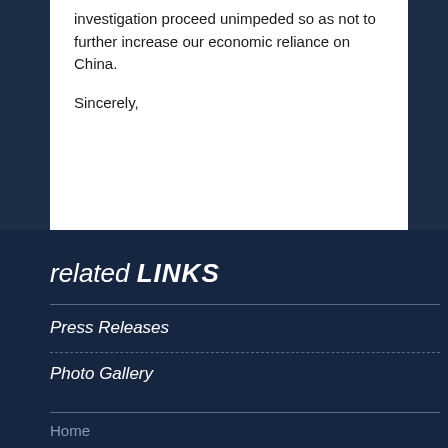investigation proceed unimpeded so as not to further increase our economic reliance on China.
Sincerely,
related LINKS
Press Releases
Photo Gallery
Home